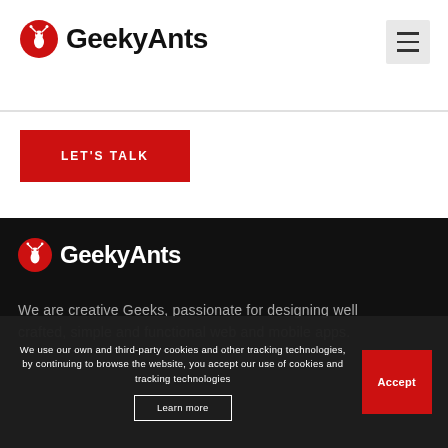GeekyAnts
[Figure (logo): GeekyAnts logo with red ant icon and bold black text in white header bar]
LET'S TALK
[Figure (logo): GeekyAnts logo with red ant icon and white text on dark background]
We are creative Geeks, passionate for designing well crafted, simple and functional web and mobile apps.
We use our own and third-party cookies and other tracking technologies, by continuing to browse the website, you accept our use of cookies and tracking technologies
Learn more
Accept